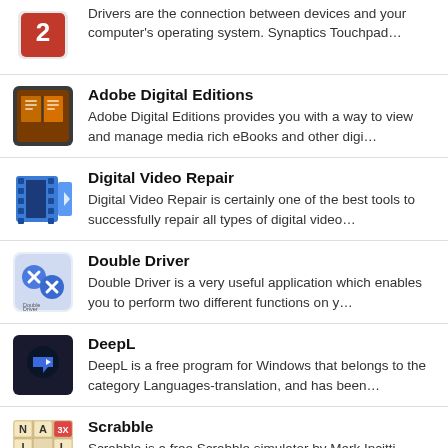Drivers are the connection between devices and your computer's operating system. Synaptics Touchpad…
Adobe Digital Editions
Adobe Digital Editions provides you with a way to view and manage media rich eBooks and other digi…
Digital Video Repair
Digital Video Repair is certainly one of the best tools to successfully repair all types of digital video…
Double Driver
Double Driver is a very useful application which enables you to perform two different functions on y…
DeepL
DeepL is a free program for Windows that belongs to the category Languages-translation, and has been…
Scrabble
Scrabble is a free Scrabble simulator by Mark Incitti downloadable for Windows. Scrabble is one of the…